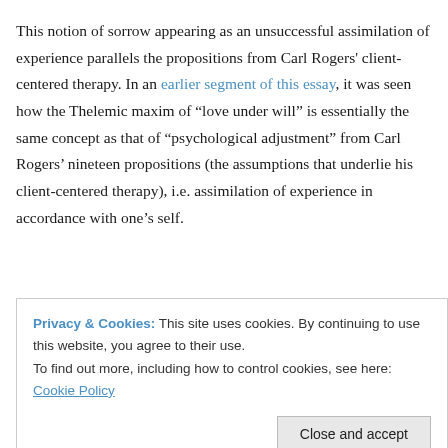This notion of sorrow appearing as an unsuccessful assimilation of experience parallels the propositions from Carl Rogers' client-centered therapy. In an earlier segment of this essay, it was seen how the Thelemic maxim of “love under will” is essentially the same concept as that of “psychological adjustment” from Carl Rogers’ nineteen propositions (the assumptions that underlie his client-centered therapy), i.e. assimilation of experience in accordance with one’s self.
Privacy & Cookies: This site uses cookies. By continuing to use this website, you agree to their use.
To find out more, including how to control cookies, see here: Cookie Policy
awareness of significant sensory and visceral experiences, which